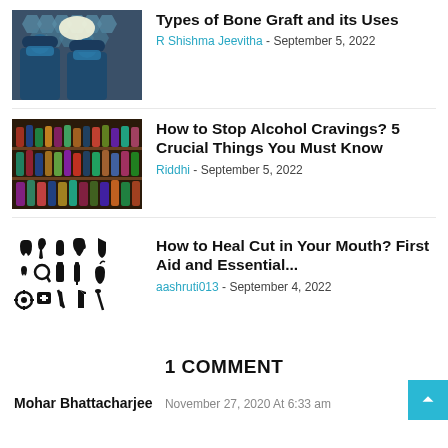[Figure (photo): Surgeons in blue scrubs operating under bright surgical lights with honeycomb pattern ceiling]
Types of Bone Graft and its Uses
R Shishma Jeevitha - September 5, 2022
[Figure (photo): Shelves filled with many colorful alcohol bottles]
How to Stop Alcohol Cravings? 5 Crucial Things You Must Know
Riddhi - September 5, 2022
[Figure (illustration): Black icon set of dental and medical symbols including teeth, tools, and first aid items]
How to Heal Cut in Your Mouth? First Aid and Essential...
aashruti013 - September 4, 2022
1 COMMENT
Mohar Bhattacharjee  November 27, 2020 At 6:33 am